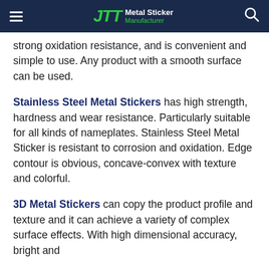JTT Metal Sticker Manufacturer
strong oxidation resistance, and is convenient and simple to use. Any product with a smooth surface can be used.
Stainless Steel Metal Stickers has high strength, hardness and wear resistance. Particularly suitable for all kinds of nameplates. Stainless Steel Metal Sticker is resistant to corrosion and oxidation. Edge contour is obvious, concave-convex with texture and colorful.
3D Metal Stickers can copy the product profile and texture and it can achieve a variety of complex surface effects. With high dimensional accuracy, bright and